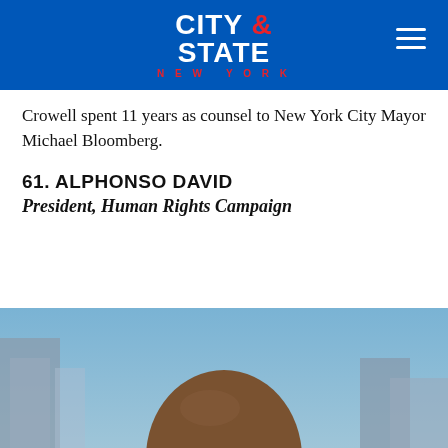[Figure (logo): City & State New York logo in white and red on blue background, with hamburger menu icon on the right]
Crowell spent 11 years as counsel to New York City Mayor Michael Bloomberg.
61. ALPHONSO DAVID
President, Human Rights Campaign
[Figure (photo): Portrait photograph of Alphonso David, a bald African American man smiling, with New York City skyline in the background]